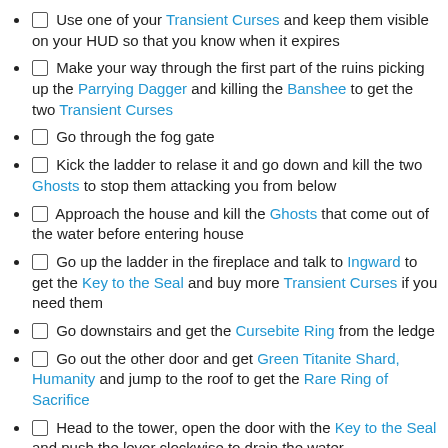Use one of your Transient Curses and keep them visible on your HUD so that you know when it expires
Make your way through the first part of the ruins picking up the Parrying Dagger and killing the Banshee to get the two Transient Curses
Go through the fog gate
Kick the ladder to relase it and go down and kill the two Ghosts to stop them attacking you from below
Approach the house and kill the Ghosts that come out of the water before entering house
Go up the ladder in the fireplace and talk to Ingward to get the Key to the Seal and buy more Transient Curses if you need them
Go downstairs and get the Cursebite Ring from the ledge
Go out the other door and get Green Titanite Shard, Humanity and jump to the roof to get the Rare Ring of Sacrifice
Head to the tower, open the door with the Key to the Seal and push the lever clockwise to drain the water
Go upstairs in the tower and get the Composite Bow and